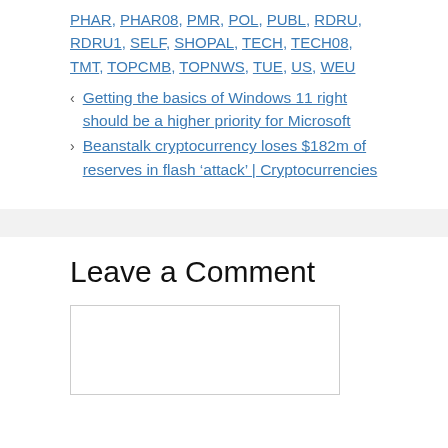PHAR, PHAR08, PMR, POL, PUBL, RDRU, RDRU1, SELF, SHOPAL, TECH, TECH08, TMT, TOPCMB, TOPNWS, TUE, US, WEU
< Getting the basics of Windows 11 right should be a higher priority for Microsoft
> Beanstalk cryptocurrency loses $182m of reserves in flash ‘attack’ | Cryptocurrencies
Leave a Comment